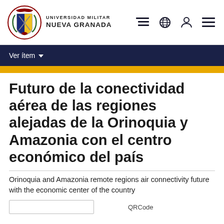Universidad Militar Nueva Granada
Ver ítem
Futuro de la conectividad aérea de las regiones alejadas de la Orinoquia y Amazonia con el centro económico del país
Orinoquia and Amazonia remote regions air connectivity future with the economic center of the country
QRCode